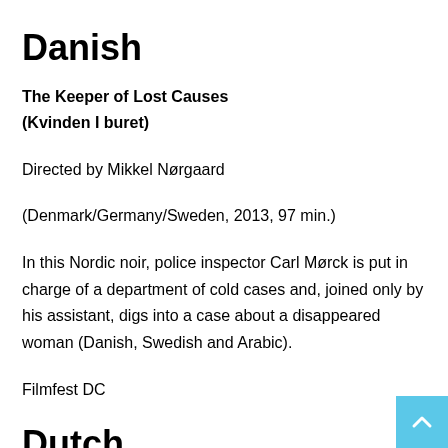Danish
The Keeper of Lost Causes
(Kvinden I buret)
Directed by Mikkel Nørgaard
(Denmark/Germany/Sweden, 2013, 97 min.)
In this Nordic noir, police inspector Carl Mørck is put in charge of a department of cold cases and, joined only by his assistant, digs into a case about a disappeared woman (Danish, Swedish and Arabic).
Filmfest DC
Dutch